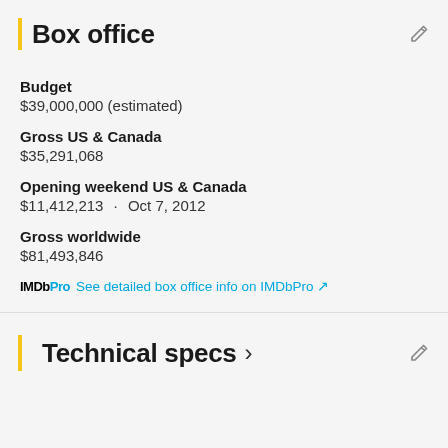Box office
Budget
$39,000,000 (estimated)
Gross US & Canada
$35,291,068
Opening weekend US & Canada
$11,412,213 · Oct 7, 2012
Gross worldwide
$81,493,846
IMDbPro  See detailed box office info on IMDbPro ↗
Technical specs